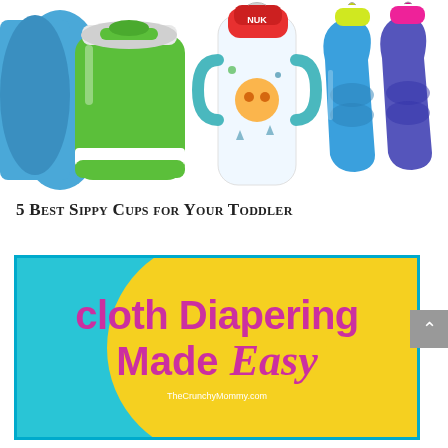[Figure (photo): Photo of various sippy cups including a green Munchkin 360 cup, a NUK decorated bottle with handles, and two Nuby sippy cups in blue and dark blue/purple, on a white background]
5 Best Sippy Cups for Your Toddler
[Figure (infographic): Promotional banner with cyan blue left background and yellow right background circle overlap. Bold magenta/pink text reads 'cloth Diapering Made Easy' with 'Easy' in italic serif. Small text at bottom: TheCrunchyMommy.com. Bordered with cyan blue rectangle outline.]